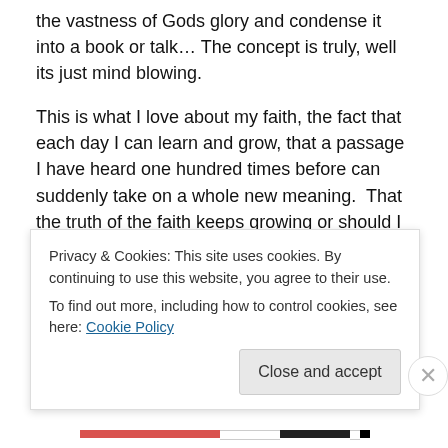the vastness of Gods glory and condense it into a book or talk… The concept is truly, well its just mind blowing.
This is what I love about my faith, the fact that each day I can learn and grow, that a passage I have heard one hundred times before can suddenly take on a whole new meaning.  That the truth of the faith keeps growing or should I say that my understanding of the truth keeps growing. That the smallest of details sometimes are the greatest of truths.
The challenges given to me to create the programs I
Privacy & Cookies: This site uses cookies. By continuing to use this website, you agree to their use.
To find out more, including how to control cookies, see here: Cookie Policy